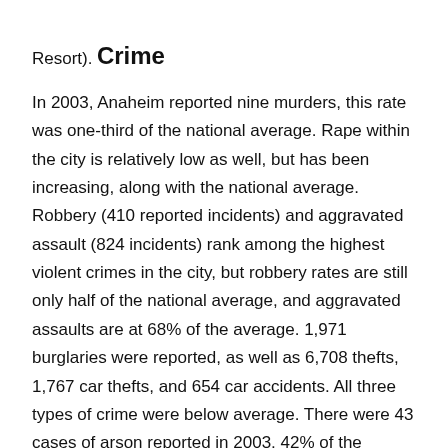Resort).
Crime
In 2003, Anaheim reported nine murders, this rate was one-third of the national average. Rape within the city is relatively low as well, but has been increasing, along with the national average. Robbery (410 reported incidents) and aggravated assault (824 incidents) rank among the highest violent crimes in the city, but robbery rates are still only half of the national average, and aggravated assaults are at 68% of the average. 1,971 burglaries were reported, as well as 6,708 thefts, 1,767 car thefts, and 654 car accidents. All three types of crime were below average. There were 43 cases of arson reported in 2003, 42% of the national average.[41]